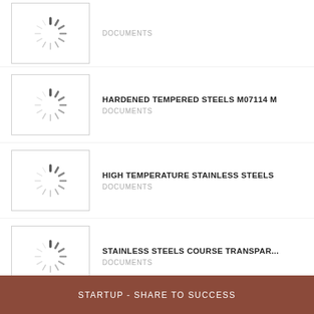[Figure (other): Loading spinner thumbnail for first item (partially visible at top)]
DOCUMENTS
[Figure (other): Loading spinner thumbnail for HARDENED TEMPERED STEELS M07114 M]
HARDENED TEMPERED STEELS M07114 M
DOCUMENTS
[Figure (other): Loading spinner thumbnail for HIGH TEMPERATURE STAINLESS STEELS]
HIGH TEMPERATURE STAINLESS STEELS
DOCUMENTS
[Figure (other): Loading spinner thumbnail for STAINLESS STEELS COURSE TRANSPAR...]
STAINLESS STEELS COURSE TRANSPAR...
DOCUMENTS
View More
STARTUP - SHARE TO SUCCESS